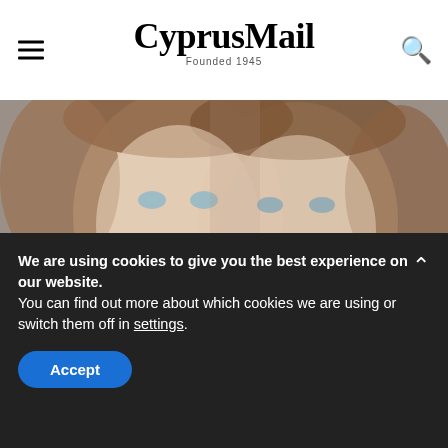CyprusMail — Founded 1945
[Figure (photo): Two young twin girls with light eyes posing close together, cheeks nearly touching, looking at camera.]
These Twins Were Named "Most Beautiful in the World," Wait Till You See
We are using cookies to give you the best experience on our website.
You can find out more about which cookies we are using or switch them off in settings.
Accept